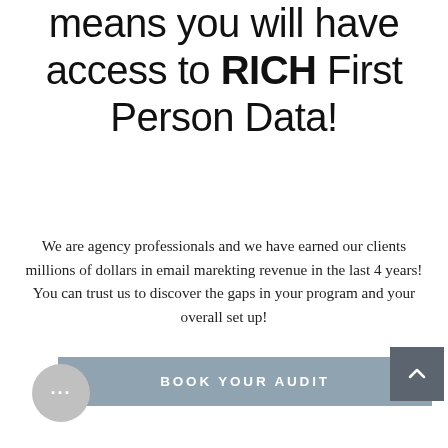means you will have access to RICH First Person Data!
We are agency professionals and we have earned our clients millions of dollars in email marekting revenue in the last 4 years! You can trust us to discover the gaps in your program and your overall set up!
BOOK YOUR AUDIT